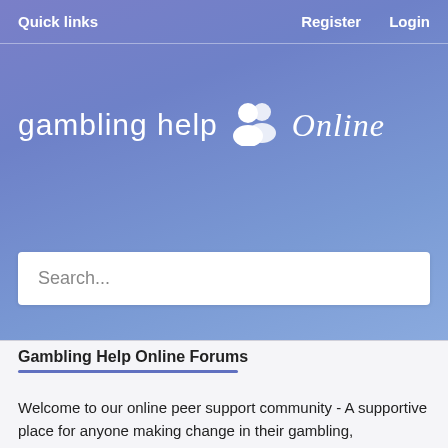Quick links    Register    Login
[Figure (logo): Gambling Help Online logo with white text 'gambling help' followed by a two-person silhouette icon and italic script 'Online']
Search...
Gambling Help Online Forums
Welcome to our online peer support community - A supportive place for anyone making change in their gambling,